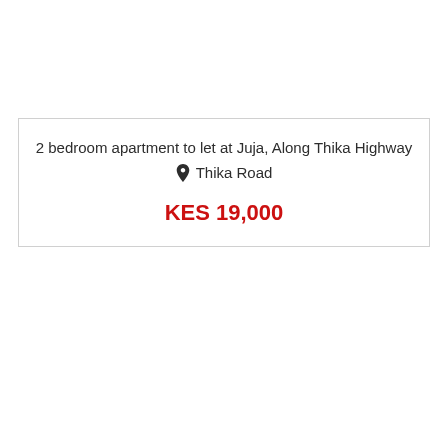2 bedroom apartment to let at Juja, Along Thika Highway
📍 Thika Road

KES 19,000